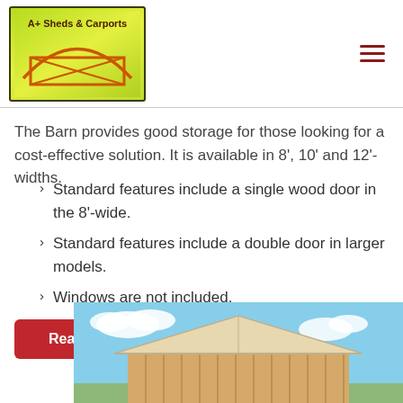[Figure (logo): A+ Sheds & Carports logo: green/yellow gradient background with orange barn outline and envelope/shed icon]
The Barn provides good storage for those looking for a cost-effective solution. It is available in 8', 10' and 12'-widths.
Standard features include a single wood door in the 8'-wide.
Standard features include a double door in larger models.
Windows are not included.
[Figure (photo): Photo of a wooden barn/shed structure with peaked roof against a blue sky with clouds]